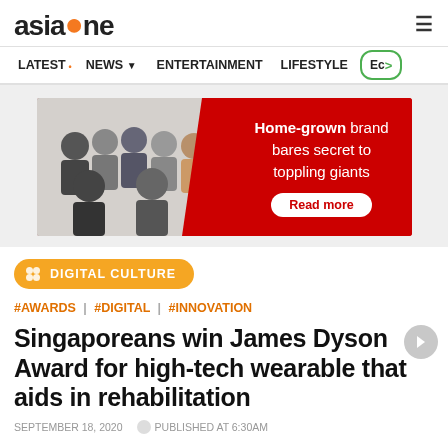asiaone
LATEST | NEWS | ENTERTAINMENT | LIFESTYLE | Ec>
[Figure (photo): Advertisement banner: Home-grown brand bares secret to toppling giants. Read more.]
DIGITAL CULTURE
#AWARDS | #DIGITAL | #INNOVATION
Singaporeans win James Dyson Award for high-tech wearable that aids in rehabilitation
SEPTEMBER 18, 2020  PUBLISHED AT 6:30AM